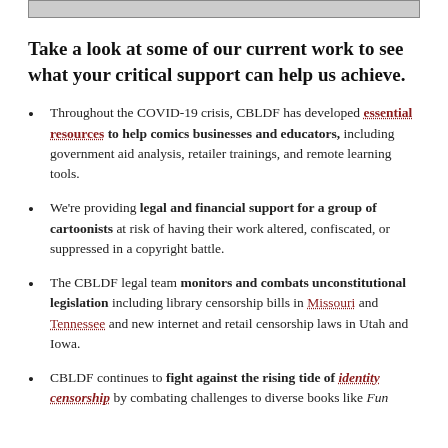[Figure (other): Top portion of an image, cropped at top of page]
Take a look at some of our current work to see what your critical support can help us achieve.
Throughout the COVID-19 crisis, CBLDF has developed essential resources to help comics businesses and educators, including government aid analysis, retailer trainings, and remote learning tools.
We're providing legal and financial support for a group of cartoonists at risk of having their work altered, confiscated, or suppressed in a copyright battle.
The CBLDF legal team monitors and combats unconstitutional legislation including library censorship bills in Missouri and Tennessee and new internet and retail censorship laws in Utah and Iowa.
CBLDF continues to fight against the rising tide of identity censorship by combating challenges to diverse books like Fun